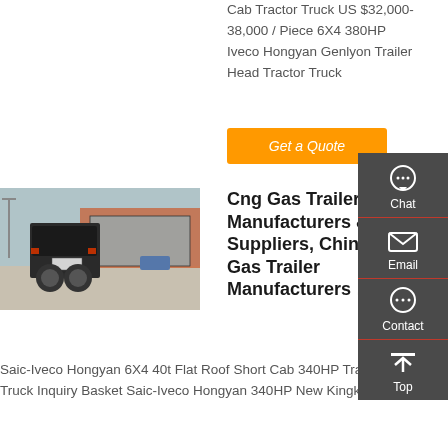Cab Tractor Truck US $32,000-38,000 / Piece 6X4 380HP Iveco Hongyan Genlyon Trailer Head Tractor Truck
Get a Quote
[Figure (photo): Rear view of a tractor truck parked in front of a commercial building]
Cng Gas Trailer Manufacturers & Suppliers, China Cng Gas Trailer Manufacturers ...
Saic-Iveco Hongyan 6X4 40t Flat Roof Short Cab 340HP Tractor Truck Inquiry Basket Saic-Iveco Hongyan 340HP New Kingkan